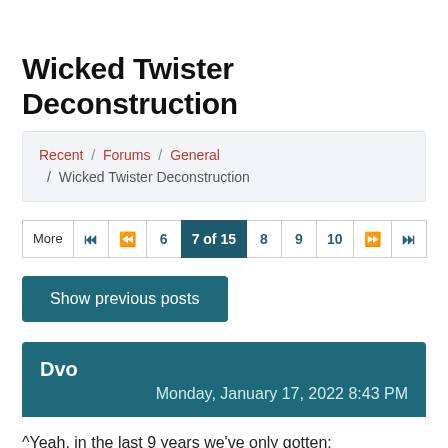Wicked Twister Deconstruction
Recent / Forums / General / Wicked Twister Deconstruction
More  |◀  ◀◀  6  7 of 15  8  9  10  ▶▶  ▶|
Show previous posts
Dvo
Monday, January 17, 2022 8:43 PM
^Yeah, in the last 9 years we've only gotten: